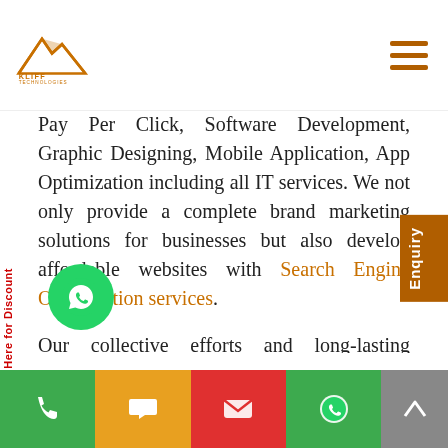[Figure (logo): Kliff Technologies logo with mountain/cliff graphic and text 'KLIFF TECHNOLOGIES CREATIVITY THAT CAPTIVATES']
Pay Per Click, Software Development, Graphic Designing, Mobile Application, App Optimization including all IT services. We not only provide a complete brand marketing solutions for businesses but also develop affordable websites with Search Engine Optimization services.
Our collective efforts and long-lasting relationships with international clients make us the No. #1 Digital Marketing Company in Canada. Kliff Technologies was established in 2001 and is one of the best and most promising software development companies in Canada, located in the USA. We suggest our customers the most effective way to expand their business branding and exactly their